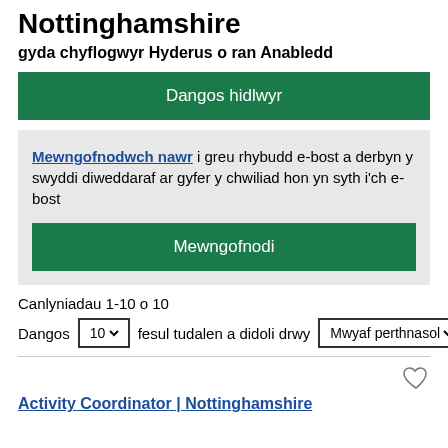Nottinghamshire
gyda chyflogwyr Hyderus o ran Anabledd
Dangos hidlwyr
Mewngofnodwch nawr i greu rhybudd e-bost a derbyn y swyddi diweddaraf ar gyfer y chwiliad hon yn syth i'ch e-bost
Mewngofnodi
Canlyniadau 1-10 o 10
Dangos 10 fesul tudalen a didoli drwy Mwyaf perthnasol
Activity Coordinator | Nottinghamshire